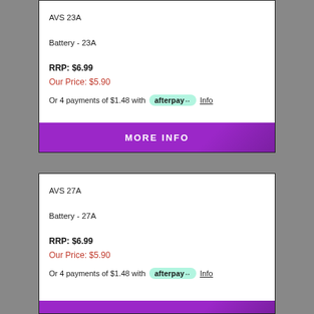AVS 23A
Battery - 23A
RRP: $6.99
Our Price: $5.90
Or 4 payments of $1.48 with afterpay Info
MORE INFO
AVS 27A
Battery - 27A
RRP: $6.99
Our Price: $5.90
Or 4 payments of $1.48 with afterpay Info